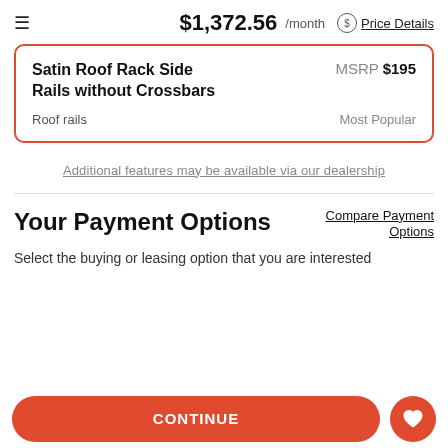≡  $1,372.56 /month  $ Price Details
Satin Roof Rack Side Rails without Crossbars   MSRP $195
Roof rails   Most Popular
Additional features may be available via our dealership
Your Payment Options
Compare Payment Options
Select the buying or leasing option that you are interested